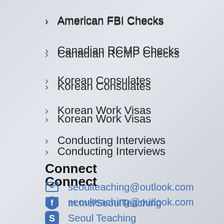American FBI Checks
Canadian RCMP Checks
Korean Consulates
Korean Work Visas
Conducting Interviews
Connect
seoulteaching@outlook.com
m.me/SeoulTeaching
Seoul Teaching
facebook.com/SeoulTeaching